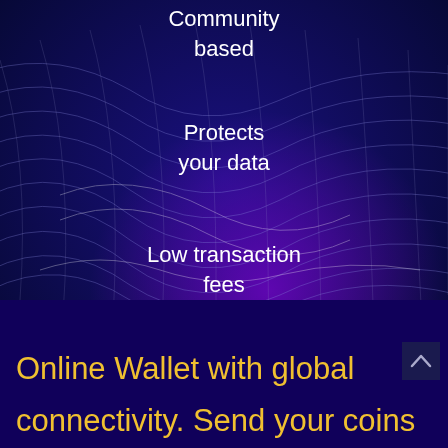Community
based
Protects
your data
Low transaction
fees
Global System
and Secure
Mobile app
[Figure (illustration): Abstract 3D mesh wave visualization with blue/purple grid lines and pink/magenta wave accents on dark navy background]
Online Wallet with global connectivity. Send your coins